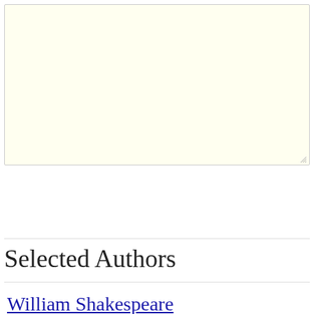[Figure (screenshot): A text area input box with a light yellow background and a resize handle in the bottom-right corner.]
Submit Comment
Selected Authors
William Shakespeare